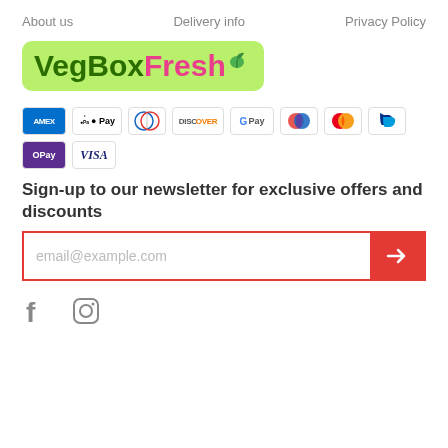About us    Delivery info    Privacy Policy
[Figure (logo): VegBoxFresh logo with green background, dark green bold 'VegBox' text and pink 'Fresh' text with a small green leaf icon]
[Figure (infographic): Payment method icons: American Express, Apple Pay, Diners Club, Discover, Google Pay, Maestro, Mastercard, PayPal, OPay, Visa]
Sign-up to our newsletter for exclusive offers and discounts
[Figure (infographic): Email subscription form with placeholder 'email@example.com' and a red arrow submit button, bordered in red]
[Figure (infographic): Social media icons: Facebook and Instagram]